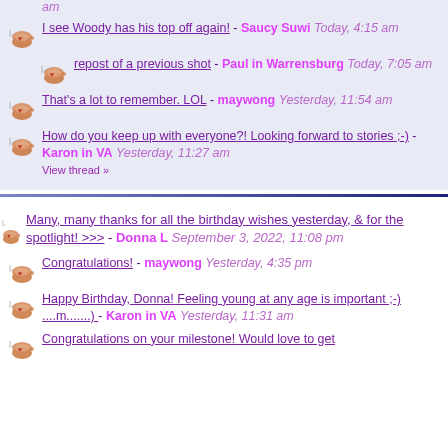am
I see Woody has his top off again! - Saucy Suwi Today, 4:15 am
repost of a previous shot - Paul in Warrensburg Today, 7:05 am
That's a lot to remember. LOL - maywong Yesterday, 11:54 am
How do you keep up with everyone?! Looking forward to stories ;-) - Karon in VA Yesterday, 11:27 am
View thread »
Many, many thanks for all the birthday wishes yesterday, & for the spotlight! >>> - Donna L September 3, 2022, 11:08 pm
Congratulations! - maywong Yesterday, 4:35 pm
Happy Birthday, Donna! Feeling young at any age is important ;-) ....m.......) - Karon in VA Yesterday, 11:31 am
Congratulations on your milestone! Would love to get